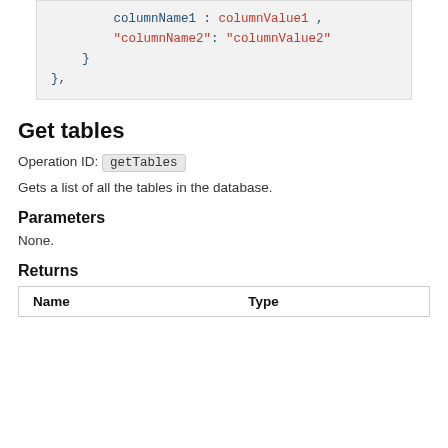columnName1 : columnValue1 ,
"columnName2": "columnValue2"
    }
},
Get tables
Operation ID: getTables
Gets a list of all the tables in the database.
Parameters
None.
Returns
| Name | Type |
| --- | --- |